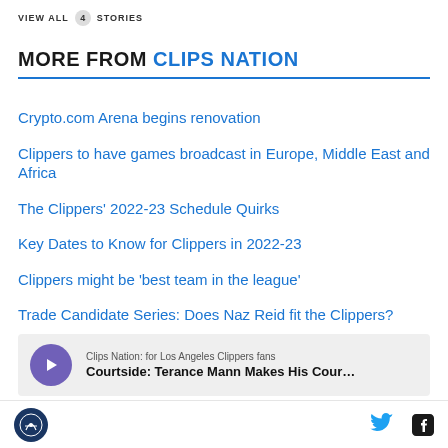VIEW ALL 4 STORIES
MORE FROM CLIPS NATION
Crypto.com Arena begins renovation
Clippers to have games broadcast in Europe, Middle East and Africa
The Clippers' 2022-23 Schedule Quirks
Key Dates to Know for Clippers in 2022-23
Clippers might be 'best team in the league'
Trade Candidate Series: Does Naz Reid fit the Clippers?
[Figure (other): Podcast player widget with play button and text: Clips Nation: for Los Angeles Clippers fans / Courtside: Terance Mann Makes His Cour...]
Clips Nation logo, Twitter icon, Facebook icon